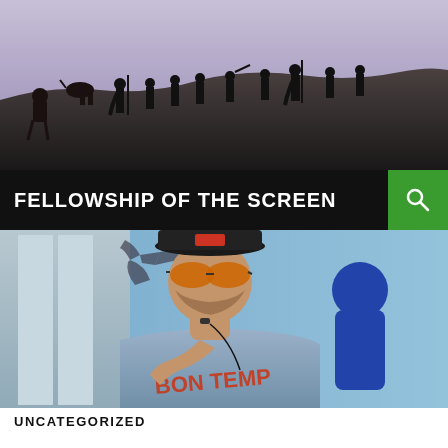[Figure (photo): Silhouette of a fellowship of travelers including horses and figures walking across a hilltop against a purple-toned sky — Lord of the Rings style banner image]
FELLOWSHIP OF THE SCREEN
[Figure (photo): Young man wearing a dark baseball cap and orange-tinted aviator sunglasses, holding a small device to his mouth, wearing a gray 'BON TEMPS' t-shirt, outdoors with a blue-clothed figure visible behind him]
UNCATEGORIZED